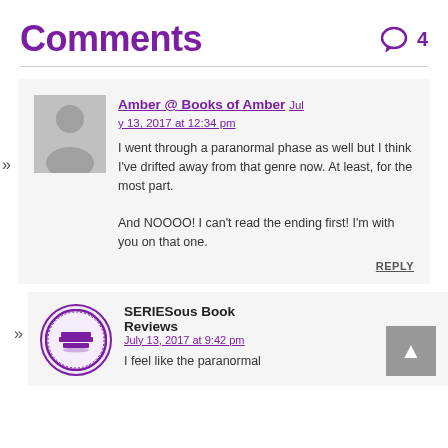Comments
4
Amber @ Books of Amber  July 13, 2017 at 12:34 pm
I went through a paranormal phase as well but I think I've drifted away from that genre now. At least, for the most part.

And NOOOO! I can't read the ending first! I'm with you on that one.
REPLY
SERIESous Book Reviews
July 13, 2017 at 9:42 pm
I feel like the paranormal